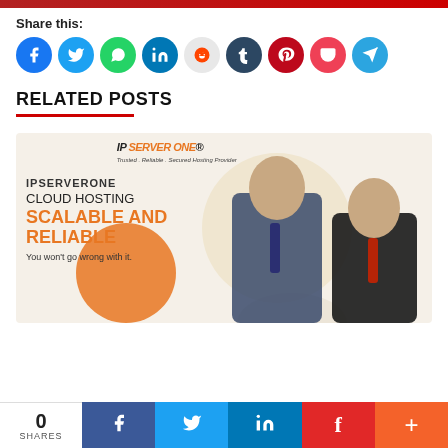Share this:
[Figure (infographic): Social media share buttons: Facebook, Twitter, WhatsApp, LinkedIn, Reddit, Tumblr, Pinterest, Pocket, Telegram]
RELATED POSTS
[Figure (infographic): IPServerOne Cloud Hosting advertisement banner: IPSERVERONE, CLOUD HOSTING, SCALABLE AND RELIABLE, You won't go wrong with it. IP Server One logo top right. Two businessmen photo on right side.]
0 SHARES | Facebook | Twitter | LinkedIn | Flipboard | +